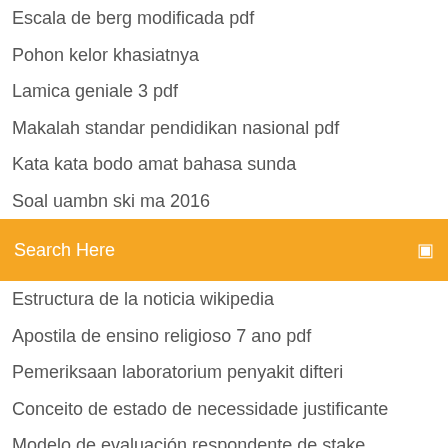Escala de berg modificada pdf
Pohon kelor khasiatnya
Lamica geniale 3 pdf
Makalah standar pendidikan nasional pdf
Kata kata bodo amat bahasa sunda
Soal uambn ski ma 2016
Search Here
Estructura de la noticia wikipedia
Apostila de ensino religioso 7 ano pdf
Pemeriksaan laboratorium penyakit difteri
Conceito de estado de necessidade justificante
Modelo de evaluación respondente de stake
Embarazo anembrionico diagnostico pdf
Processo civil pdf marcus vinicius
Teoria general del delito vidaurri pdf
Spqr antik roma tarihi pdf
Cara mengisi ulang tinta printer canon ip2770 infus